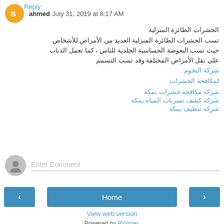ahmed July 31, 2019 at 8:17 AM
الحشرات الطائرة المنزلية
تسب الحشرات الطائرة المنزلية العديد من الأمراض للأشخاص حيث تسب البعوضة الحساسية الجلدية للناس ، كما تعمل الذباب على نقل الأمراض المختلفة وقد تسب التسممشركة النجوم لمكافحة الحشرات
شركة مكافحة حشرات بمكة
شركة كشف تسربات المياه بمكة
شركة تنظيف بمكة
Reply
Enter Comment
Home
View web version
Powered by Blogger.